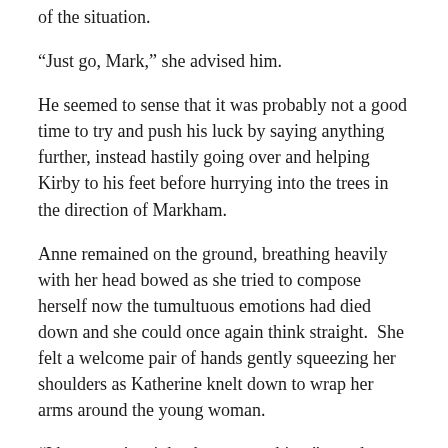of the situation.
“Just go, Mark,” she advised him.
He seemed to sense that it was probably not a good time to try and push his luck by saying anything further, instead hastily going over and helping Kirby to his feet before hurrying into the trees in the direction of Markham.
Anne remained on the ground, breathing heavily with her head bowed as she tried to compose herself now the tumultuous emotions had died down and she could once again think straight.  She felt a welcome pair of hands gently squeezing her shoulders as Katherine knelt down to wrap her arms around the young woman.
“I hope you’re right about everything,” noted Anne, turning her face up to meet Katherine’s gaze, “Because right now I feel like I’ve let a murderer get away.”
Katherine gently stroked her face and Anne should be recalled in the next at data to